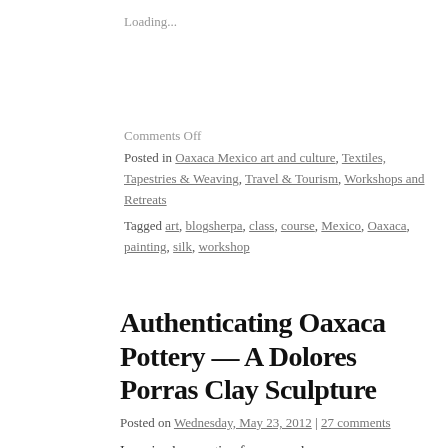Loading...
Comments Off
Posted in Oaxaca Mexico art and culture, Textiles, Tapestries & Weaving, Travel & Tourism, Workshops and Retreats
Tagged art, blogsherpa, class, course, Mexico, Oaxaca, painting, silk, workshop
Authenticating Oaxaca Pottery — A Dolores Porras Clay Sculpture
Posted on Wednesday, May 23, 2012 | 27 comments
I received a question from a reader